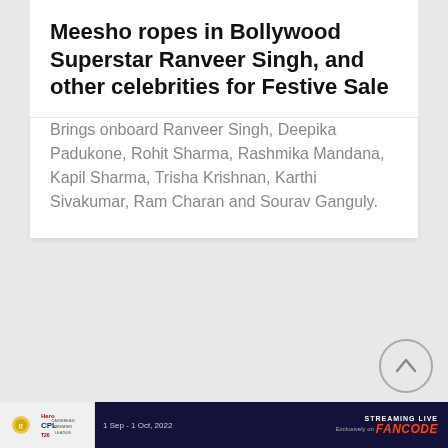Meesho ropes in Bollywood Superstar Ranveer Singh, and other celebrities for Festive Sale
Brings onboard Ranveer Singh, Deepika Padukone, Rohit Sharma, Rashmika Mandana, Kapil Sharma, Trisha Krishnan, Karthi Sivakumar, Ram Charan and Sourav Ganguly.
[Figure (other): Scroll-to-top circular button with upward chevron arrow]
[Figure (other): CPL T20 Hero advertisement banner showing streaming live on FanCode, 1 Sep - 1 Oct, 2022]